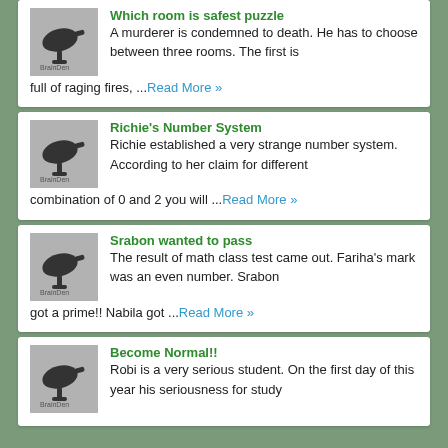Which room is safest puzzle – A murderer is condemned to death. He has to choose between three rooms. The first is full of raging fires, ...Read More »
Richie's Number System – Richie established a very strange number system. According to her claim for different combination of 0 and 2 you will ...Read More »
Srabon wanted to pass – The result of math class test came out. Fariha's mark was an even number. Srabon got a prime!! Nabila got ...Read More »
Become Normal!! – Robi is a very serious student. On the first day of this year his seriousness for study